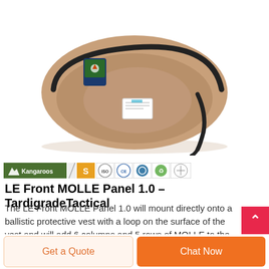[Figure (photo): A tan/khaki military beret viewed from above, showing the underside with a black leather band and strap hanging off. A small embroidered patch with a shield design is visible on the front. A white label/tag is attached inside.]
[Figure (logo): Brand bar showing Kangaroo logo (green background with white kangaroo silhouette and text 'Kangaroos'), followed by an orange S-badge, and several certification round badges (ISO, CE, recycling, and other quality marks).]
LE Front MOLLE Panel 1.0 – TardigradeTactical
The LE Front MOLLE Panel 1.0 will mount directly onto a ballistic protective vest with a loop on the surface of the vest and will add 6 columns and 5 rows of MOLLE to the front of the vest. The LE Front MOLLE Panel 1.0 is designed to upgrade an existing low-vis or discrete ve...